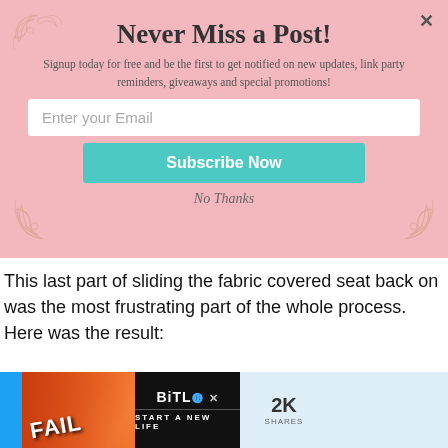[Figure (screenshot): Email subscription modal popup with pink background, decorative flourish corners, title 'Never Miss a Post!', subtitle text, email input field, teal Subscribe Now button, and No Thanks link]
Never Miss a Post!
Signup today for free and be the first to get notified on new updates, link party reminders, giveaways and special promotions!
Enter your Email
Subscribe Now
No Thanks
This last part of sliding the fabric covered seat back on was the most frustrating part of the whole process.  Here was the result:
[Figure (screenshot): Advertisement bar at bottom showing BitLife game ad with fire/fail imagery and text 'START A NEW LIFE', alongside social share count showing 2K SHARES]